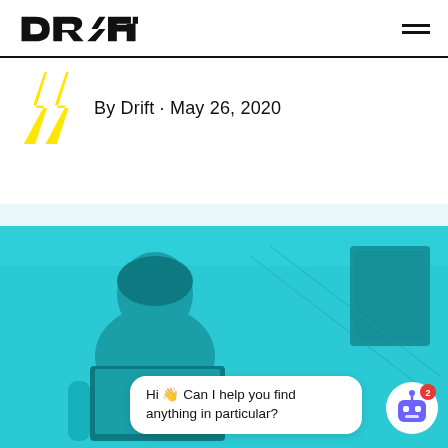DRIFT®
By Drift · May 26, 2020
[Figure (photo): Teal-tinted photo of a woman working on a laptop with a Drift chatbot widget overlay showing 'Hi 👋 Can I help you find anything in particular?' and a robot avatar icon with notification badge]